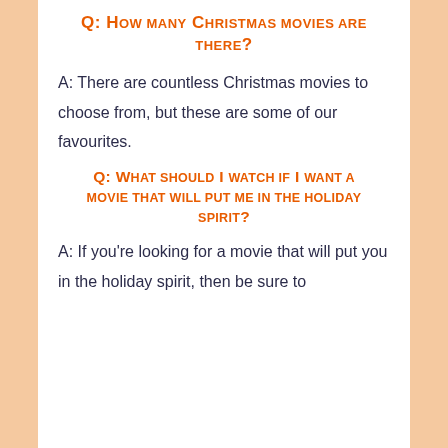Q: How many Christmas movies are there?
A: There are countless Christmas movies to choose from, but these are some of our favourites.
Q: What should I watch if I want a movie that will put me in the holiday spirit?
A: If you're looking for a movie that will put you in the holiday spirit, then be sure to